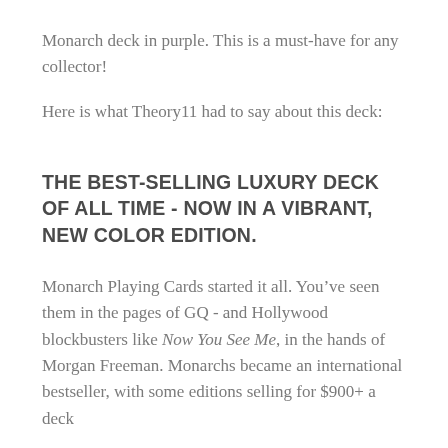Monarch deck in purple. This is a must-have for any collector!
Here is what Theory11 had to say about this deck:
THE BEST-SELLING LUXURY DECK OF ALL TIME - NOW IN A VIBRANT, NEW COLOR EDITION.
Monarch Playing Cards started it all. You’ve seen them in the pages of GQ - and Hollywood blockbusters like Now You See Me, in the hands of Morgan Freeman. Monarchs became an international bestseller, with some editions selling for $900+ a deck